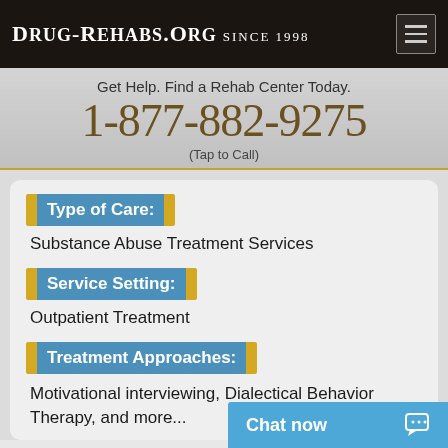Drug-Rehabs.org Since 1998
Get Help. Find a Rehab Center Today.
1-877-882-9275
(Tap to Call)
Type of Care:
Substance Abuse Treatment Services
Service Setting:
Outpatient Treatment
Treatment Approaches:
Motivational interviewing, Dialectical Behavior Therapy, and more...
Chat now